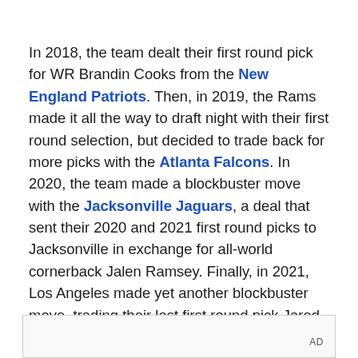In 2018, the team dealt their first round pick for WR Brandin Cooks from the New England Patriots. Then, in 2019, the Rams made it all the way to draft night with their first round selection, but decided to trade back for more picks with the Atlanta Falcons. In 2020, the team made a blockbuster move with the Jacksonville Jaguars, a deal that sent their 2020 and 2021 first round picks to Jacksonville in exchange for all-world cornerback Jalen Ramsey. Finally, in 2021, Los Angeles made yet another blockbuster move, trading their last first round pick Jared Goff, along with their 2022 and 2023 first round selections for quarterback Matthew Stafford from the Detroit Lions.